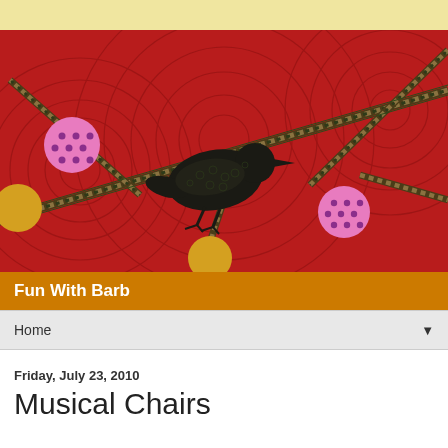[Figure (illustration): Quilt artwork depicting a dark bird silhouette perched on braided/rope-like branches against a red quilted background with pink polka-dot circles and golden-yellow circles, with a light yellow banner at the top.]
Fun With Barb
Home ▼
Friday, July 23, 2010
Musical Chairs